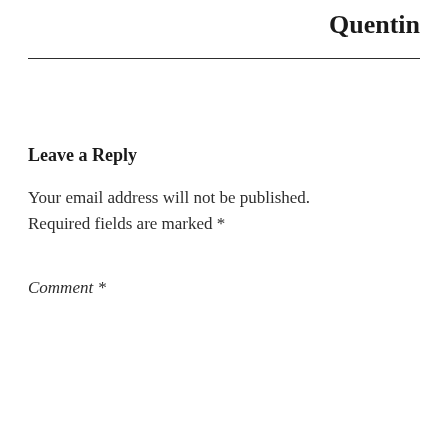Quentin
Leave a Reply
Your email address will not be published. Required fields are marked *
Comment *